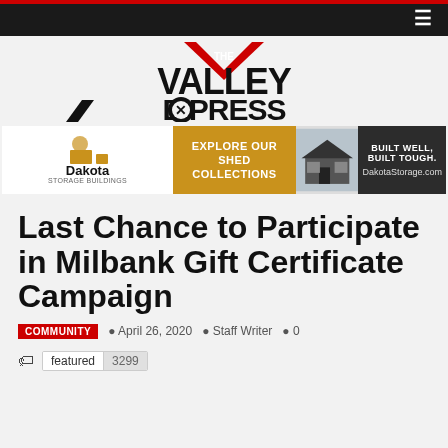The Valley Express
[Figure (logo): The Valley Express newspaper logo with red chevron/arrow and black stylized text]
[Figure (infographic): Dakota Storage Buildings advertisement banner: Explore Our Shed Collections. Built Well, Built Tough. DakotaStorage.com]
Last Chance to Participate in Milbank Gift Certificate Campaign
COMMUNITY  April 26, 2020  Staff Writer  0
featured 3299